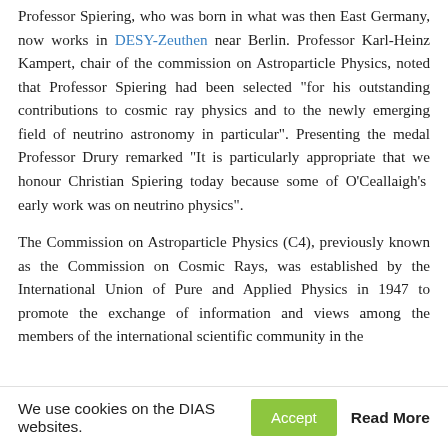Professor Spiering, who was born in what was then East Germany, now works in DESY-Zeuthen near Berlin. Professor Karl-Heinz Kampert, chair of the commission on Astroparticle Physics, noted that Professor Spiering had been selected "for his outstanding contributions to cosmic ray physics and to the newly emerging field of neutrino astronomy in particular". Presenting the medal Professor Drury remarked "It is particularly appropriate that we honour Christian Spiering today because some of O'Ceallaigh's early work was on neutrino physics".
The Commission on Astroparticle Physics (C4), previously known as the Commission on Cosmic Rays, was established by the International Union of Pure and Applied Physics in 1947 to promote the exchange of information and views among the members of the international scientific community in the
We use cookies on the DIAS websites. Accept Read More